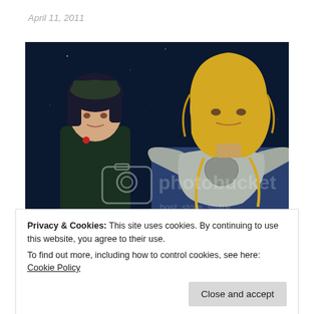April 11, 2011
[Figure (illustration): Anime illustration showing two characters against a starry dark blue background. On the left, a younger character with dark hair wearing a dark green military jacket. On the right, a taller character with long blonde hair wearing a blue outfit with ornate silver armor on the shoulders. A Photobucket watermark reading 'photobucket host. store. share.' is overlaid on the center of the image.]
Privacy & Cookies: This site uses cookies. By continuing to use this website, you agree to their use.
To find out more, including how to control cookies, see here: Cookie Policy
Close and accept